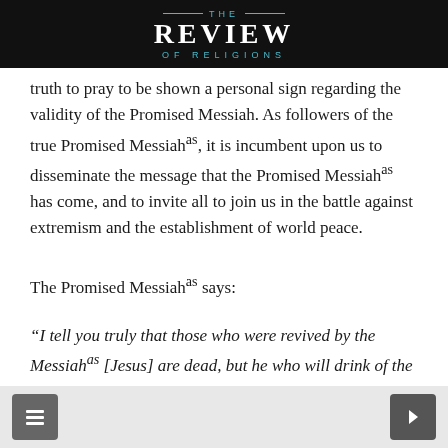THE REVIEW OF RELIGIONS
truth to pray to be shown a personal sign regarding the validity of the Promised Messiah. As followers of the true Promised Messiahᵃˢ, it is incumbent upon us to disseminate the message that the Promised Messiahᵃˢ has come, and to invite all to join us in the battle against extremism and the establishment of world peace.
The Promised Messiahᵃˢ says:
"I tell you truly that those who were revived by the Messiahᵃˢ [Jesus] are dead, but he who will drink of the cup that has been bestowed upon me will never die. If there is anyone else who can also utter the life-giving words that I speak and
◁  ▷